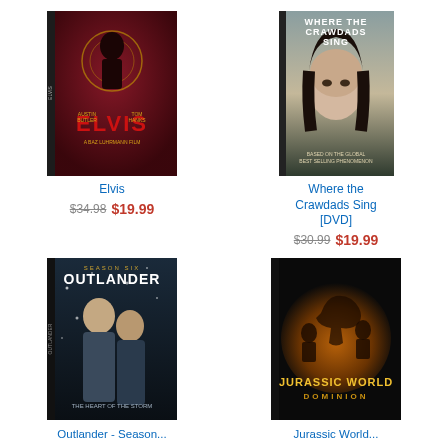[Figure (photo): DVD cover for Elvis movie featuring Austin Butler and Tom Hanks, directed by Baz Luhrmann. Dark red background with Elvis title in red letters.]
Elvis
$34.98 $19.99
[Figure (photo): DVD cover for Where the Crawdads Sing. Young woman with long dark hair on tan/grey background with title text at top.]
Where the Crawdads Sing [DVD]
$30.99 $19.99
[Figure (photo): DVD cover for Outlander Season Six. Two characters in dark winter setting, subtitle The Heart of the Storm.]
Outlander - Season...
[Figure (photo): DVD cover for Jurassic World Dominion. Characters surrounded by glowing orange dinosaur imagery on dark background.]
Jurassic World...